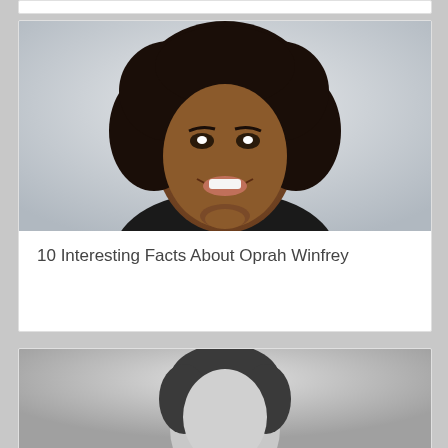[Figure (photo): Partial top edge of a card element visible at top of page]
[Figure (photo): Portrait photo of Oprah Winfrey smiling, with curly dark hair, against a light gray background]
10 Interesting Facts About Oprah Winfrey
[Figure (photo): Partial black and white portrait photo of a person visible at bottom of page]